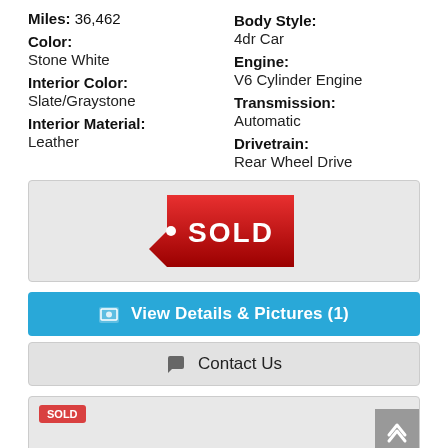Miles: 36,462
Color:
Stone White
Interior Color:
Slate/Graystone
Interior Material:
Leather
Body Style:
4dr Car
Engine:
V6 Cylinder Engine
Transmission:
Automatic
Drivetrain:
Rear Wheel Drive
[Figure (other): Red SOLD badge/tag graphic on gray background]
View Details & Pictures (1)
Contact Us
[Figure (other): Bottom panel showing small red SOLD badge and back-to-top arrow button]